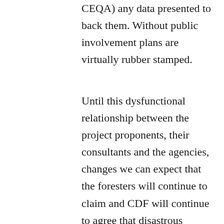CEQA) any data presented to back them. Without public involvement plans are virtually rubber stamped.
Until this dysfunctional relationship between the project proponents, their consultants and the agencies, changes we can expect that the foresters will continue to claim and CDF will continue to agree that disastrous logging plans will have “no significant environmental effects.”
Please write your California Senator and Assembly Member and ask that they sponsor legislation to change this insidious arrangement.